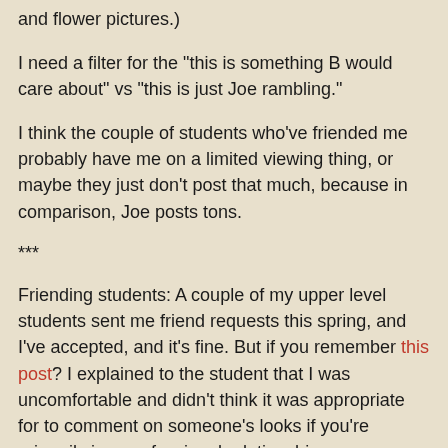and flower pictures.)
I need a filter for the "this is something B would care about" vs "this is just Joe rambling."
I think the couple of students who've friended me probably have me on a limited viewing thing, or maybe they just don't post that much, because in comparison, Joe posts tons.
***
Friending students: A couple of my upper level students sent me friend requests this spring, and I've accepted, and it's fine. But if you remember this post? I explained to the student that I was uncomfortable and didn't think it was appropriate for to comment on someone's looks if you're primarily in a professional relationship. (Student/teacher, teacher/student, etc. I suppose it's different if you're doing makeup on an actress, but that's not it here.)
The student got upset and unfriended me; I was neutral about that. I wouldn't have unfriended the student, but it was